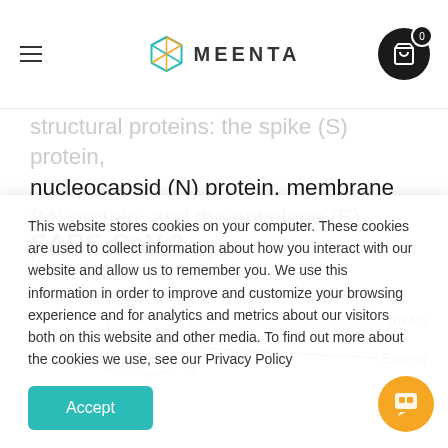MEENTA
structural proteins: the spike (S) protein, nucleocapsid (N) protein, membrane (M) protein, and the envelope (E) proteins (Figure 1).
SARS-CoV-2
[Figure (illustration): SARS-CoV-2 diagram showing RNA bound by Nucleocapsid (N) proteins and Envelope (E) and Membrane (M) proteins, with a teal/blue coronavirus particle illustration]
This website stores cookies on your computer. These cookies are used to collect information about how you interact with our website and allow us to remember you. We use this information in order to improve and customize your browsing experience and for analytics and metrics about our visitors both on this website and other media. To find out more about the cookies we use, see our Privacy Policy
Accept